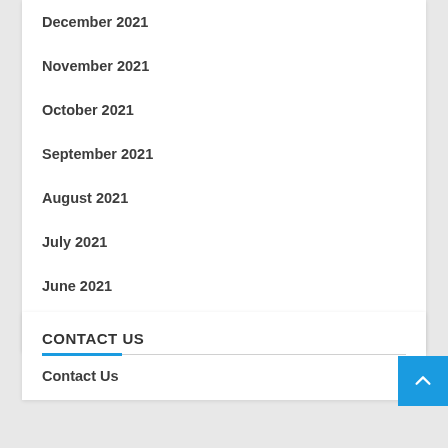December 2021
November 2021
October 2021
September 2021
August 2021
July 2021
June 2021
May 2021
CONTACT US
Contact Us